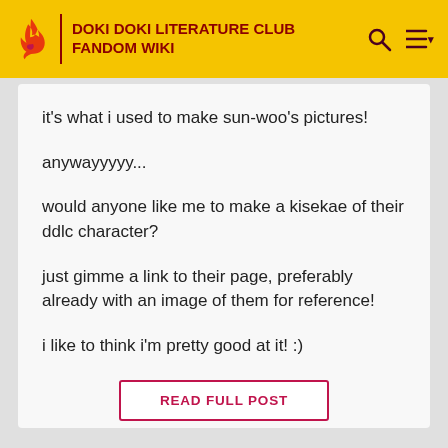DOKI DOKI LITERATURE CLUB FANDOM WIKI
it's what i used to make sun-woo's pictures!
anywayyyyy...
would anyone like me to make a kisekae of their ddlc character?
just gimme a link to their page, preferably already with an image of them for reference!
i like to think i'm pretty good at it! :)
READ FULL POST